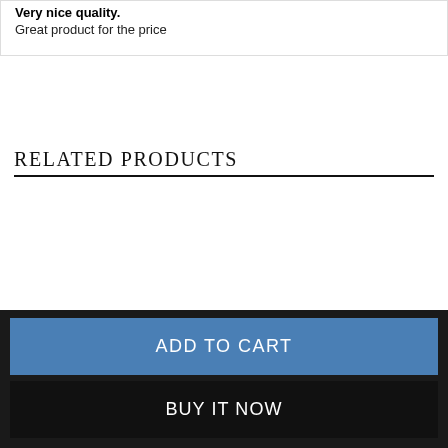Very nice quality.
Great product for the price
RELATED PRODUCTS
ADD TO CART
BUY IT NOW